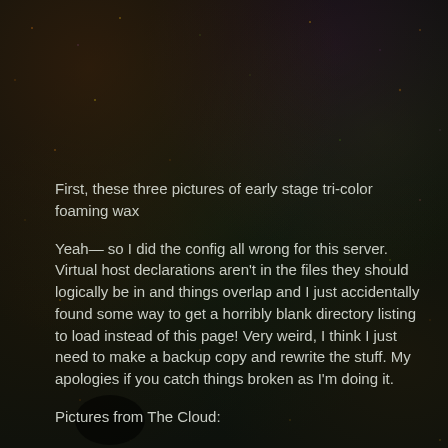First, these three pictures of early stage tri-color foaming wax
Yeah— so I did the config all wrong for this server. Virtual host declarations aren't in the files they should logically be in and things overlap and I just accidentally found some way to get a horribly blank directory listing to load instead of this page! Very weird, I think I just need to make a backup copy and rewrite the stuff. My apologies if you catch things broken as I'm doing it.
Pictures from The Cloud: